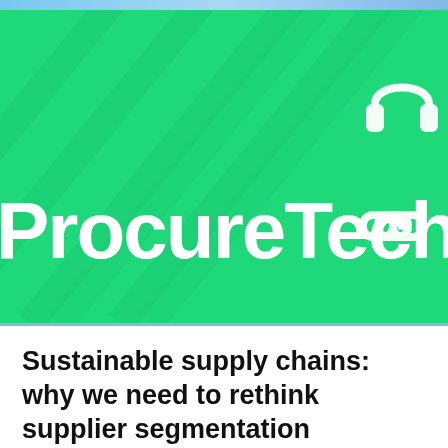[Figure (logo): ProcureTech green banner with white ProcureTech wordmark and stylized headphone/link logo icons on bright green background with subtle geometric watermark lines]
Sustainable supply chains: why we need to rethink supplier segmentation
HICX